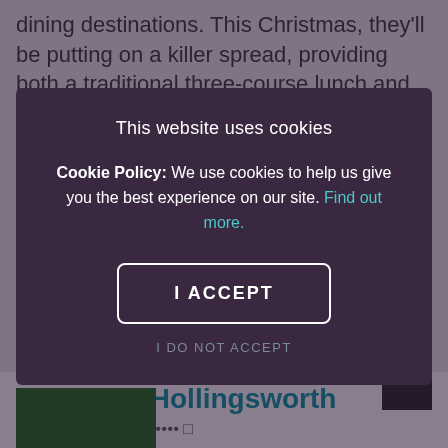dining destinations. This Christmas, they'll be putting on a killer spread, providing both a traditional three-course lunch and elegant canapés, washed down with
This website uses cookies
Cookie Policy: We use cookies to help us give you the best experience on our site. Find out more.
I ACCEPT
I DO NOT ACCEPT
Bourne & Hollingsworth
2465 user reviews